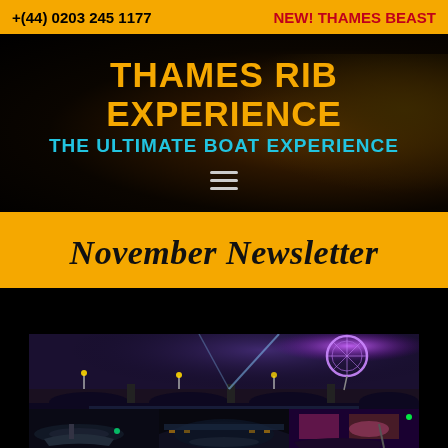+(44) 0203 245 1177
NEW! THAMES BEAST
THAMES RIB EXPERIENCE
THE ULTIMATE BOAT EXPERIENCE
November Newsletter
[Figure (photo): Night time collage of Thames river scenes: Westminster Bridge with the London Eye illuminated in purple lights in the background, and three smaller RIB boat photos below showing boats on the dark river with city lights reflected.]